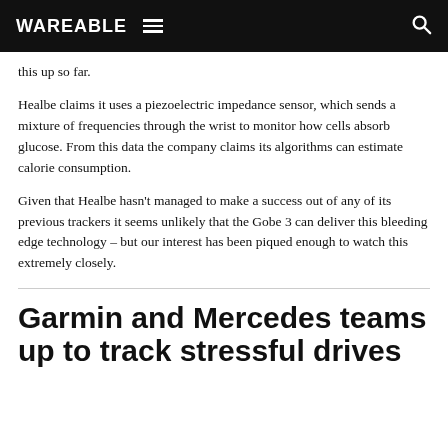WAREABLE
this up so far.
Healbe claims it uses a piezoelectric impedance sensor, which sends a mixture of frequencies through the wrist to monitor how cells absorb glucose. From this data the company claims its algorithms can estimate calorie consumption.
Given that Healbe hasn’t managed to make a success out of any of its previous trackers it seems unlikely that the Gobe 3 can deliver this bleeding edge technology – but our interest has been piqued enough to watch this extremely closely.
Garmin and Mercedes teams up to track stressful drives